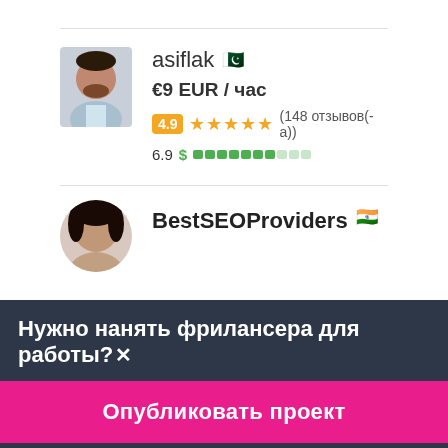[Figure (photo): Profile photo of freelancer asiflak, a man in a light blue shirt]
asiflak 🇵🇰
€9 EUR / час
4.9 ★★★★★ (148 отзывов(-а))
6.9 $ ▓▓▓▓▓▓▓▓░░░
[Figure (photo): Profile photo of freelancer BestSEOProviders, a woman]
BestSEOProviders 🇮🇳
Нужно нанять фрилансера для работы?×
Опубликовать проект